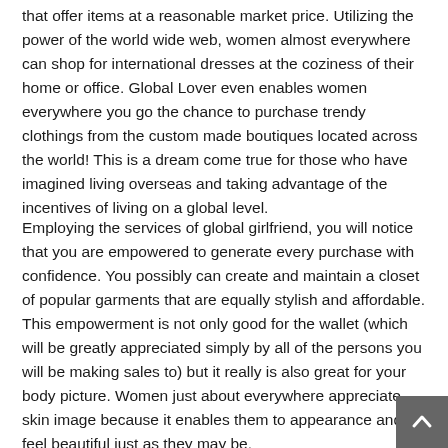that offer items at a reasonable market price. Utilizing the power of the world wide web, women almost everywhere can shop for international dresses at the coziness of their home or office. Global Lover even enables women everywhere you go the chance to purchase trendy clothings from the custom made boutiques located across the world! This is a dream come true for those who have imagined living overseas and taking advantage of the incentives of living on a global level.
Employing the services of global girlfriend, you will notice that you are empowered to generate every purchase with confidence. You possibly can create and maintain a closet of popular garments that are equally stylish and affordable. This empowerment is not only good for the wallet (which will be greatly appreciated simply by all of the persons you will be making sales to) but it really is also great for your body picture. Women just about everywhere appreciate skin image because it enables them to appearance and feel beautiful just as they may be.